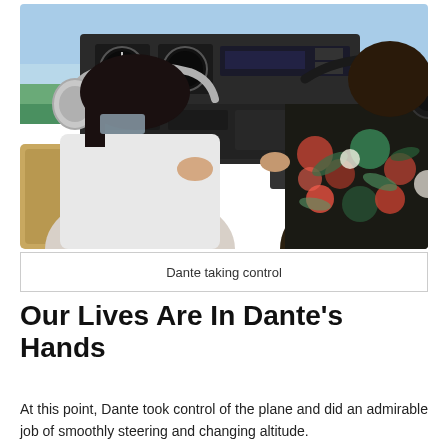[Figure (photo): Two people viewed from behind in a small aircraft cockpit. One person on the left wears a white shirt and aviation headset with a face mask, appearing to be in the pilot seat. The other person on the right wears a tropical floral shirt and a black aviation headset. The cockpit dashboard with instruments is visible in front of them, and the view outside shows sky and greenery.]
Dante taking control
Our Lives Are In Dante's Hands
At this point, Dante took control of the plane and did an admirable job of smoothly steering and changing altitude.